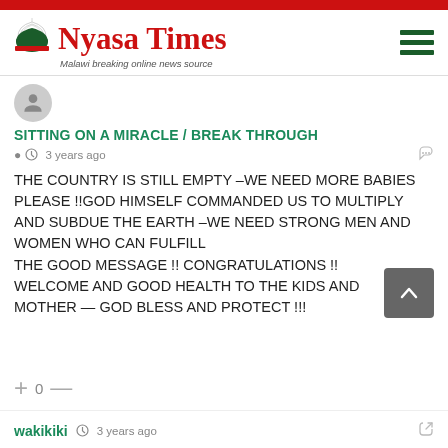Nyasa Times — Malawi breaking online news source
[Figure (logo): Nyasa Times logo with red text and green dome icon, tagline: Malawi breaking online news source]
SITTING ON A MIRACLE / BREAK THROUGH
3 years ago
THE COUNTRY IS STILL EMPTY –WE NEED MORE BABIES PLEASE !!GOD HIMSELF COMMANDED US TO MULTIPLY AND SUBDUE THE EARTH –WE NEED STRONG MEN AND WOMEN WHO CAN FULFILL THE GOOD MESSAGE !! CONGRATULATIONS !! WELCOME AND GOOD HEALTH TO THE KIDS AND MOTHER — GOD BLESS AND PROTECT !!!
+ 0 —
wakikiki  3 years ago